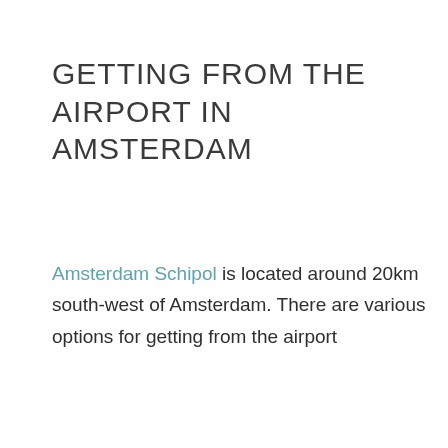GETTING FROM THE AIRPORT IN AMSTERDAM
Amsterdam Schipol is located around 20km south-west of Amsterdam. There are various options for getting from the airport
nd
This website uses cookies to help us deliver the best possible service. By using our services you agree to our use of cookies. Read our Privacy Policy.